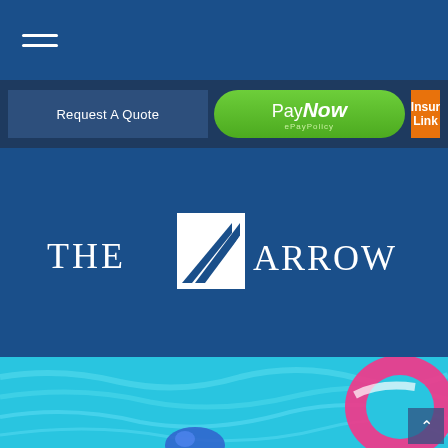[Figure (screenshot): Hamburger menu icon (three horizontal white lines) on navy blue navigation bar]
[Figure (screenshot): Action bar with 'Request A Quote' button, 'PayNow ePayPolicy' green pill button, and orange 'InsurLink' button]
[Figure (logo): The Arrow Group logo: white text 'THE ARROW GROUP' with stylized arrow/shield emblem on dark blue background]
[Figure (photo): Swimming pool with blue water and pink inflatable ring float, partially visible at bottom of page]